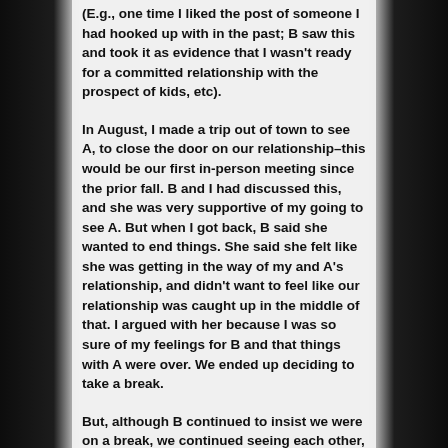(E.g., one time I liked the post of someone I had hooked up with in the past; B saw this and took it as evidence that I wasn't ready for a committed relationship with the prospect of kids, etc).
In August, I made a trip out of town to see A, to close the door on our relationship–this would be our first in-person meeting since the prior fall. B and I had discussed this, and she was very supportive of my going to see A. But when I got back, B said she wanted to end things. She said she felt like she was getting in the way of my and A's relationship, and didn't want to feel like our relationship was caught up in the middle of that. I argued with her because I was so sure of my feelings for B and that things with A were over. We ended up deciding to take a break.
But, although B continued to insist we were on a break, we continued seeing each other, sleeping together, acting in every way like boyfriend and girlfriend. This